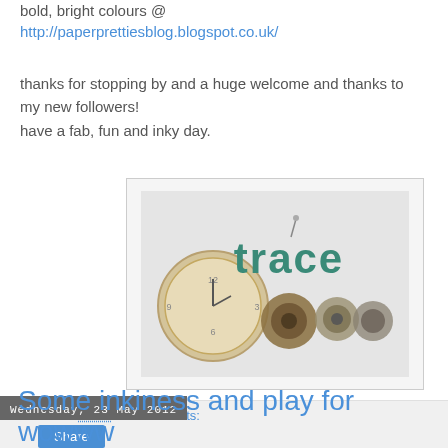bold, bright colours @ http://paperprettiesblog.blogspot.co.uk/
thanks for stopping by and a huge welcome and thanks to my new followers!
have a fab, fun and inky day.
[Figure (illustration): A banner image showing the word 'trace' in teal letters alongside steampunk-style pocket watches and gears arranged in a collage on a light grey background.]
Posted at 11:04    9 comments:
Share
Wednesday, 23 May 2012
Some inkiness and play for wowww